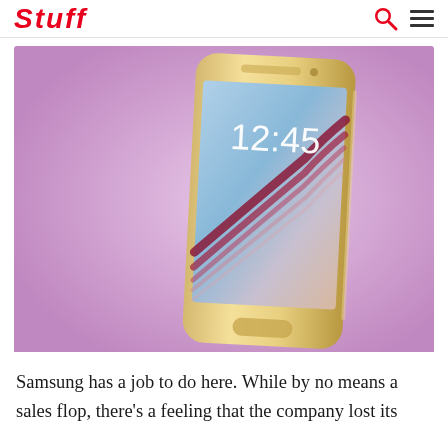Stuff
[Figure (photo): Samsung Galaxy S6 smartphone in gold color displayed against a purple/lavender background, showing the lock screen with time 12:45]
Samsung has a job to do here. While by no means a sales flop, there's a feeling that the company lost its